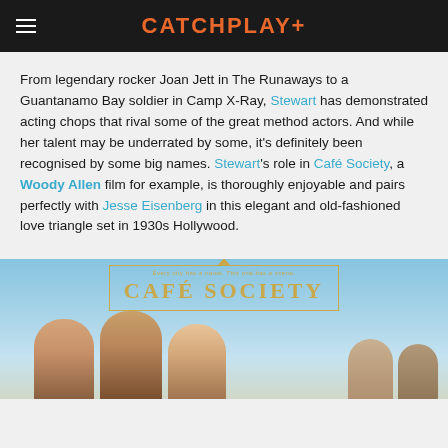CATCHPLAY+
From legendary rocker Joan Jett in The Runaways to a Guantanamo Bay soldier in Camp X-Ray, Stewart has demonstrated acting chops that rival some of the great method actors. And while her talent may be underrated by some, it's definitely been recognised by some big names. Stewart's role in Café Society, a Woody Allen film for example, is thoroughly enjoyable and pairs perfectly with Jesse Eisenberg in this elegant and old-fashioned love triangle set in 1930s Hollywood.
[Figure (photo): Movie poster for Café Society showing the title text in gold on a light blue background with silhouettes of characters below]